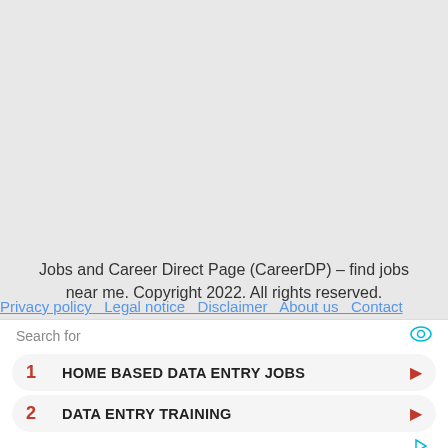Jobs and Career Direct Page (CareerDP) – find jobs near me. Copyright 2022. All rights reserved.
All the trademarks, trade names, logos or service marks mentioned or used on this domain belong to their respective owners. If you wish to have your trademark removed from appearing on careerdp.com make sure you contact us using the contact form!
Search for
1  HOME BASED DATA ENTRY JOBS
2  DATA ENTRY TRAINING